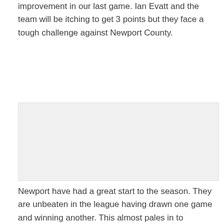improvement in our last game. Ian Evatt and the team will be itching to get 3 points but they face a tough challenge against Newport County.
[Figure (photo): A large image placeholder occupying the middle section of the page, appearing as a light grey rectangle.]
Newport have had a great start to the season. They are unbeaten in the league having drawn one game and winning another. This almost pales in to